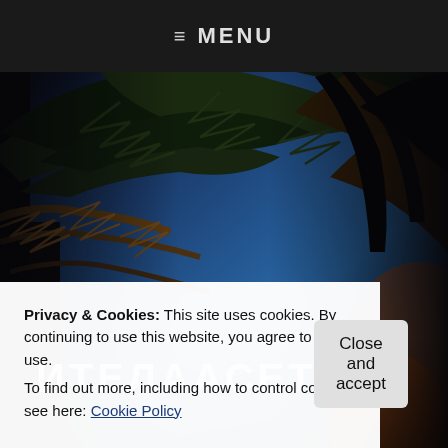≡ MENU
[Figure (photo): Looking up through pine/evergreen tree branches against a deep blue twilight sky, with warm orange fire or sunset light on the right side and some branches in silhouette.]
Privacy & Cookies: This site uses cookies. By continuing to use this website, you agree to their use.
To find out more, including how to control cookies, see here: Cookie Policy
Close and accept